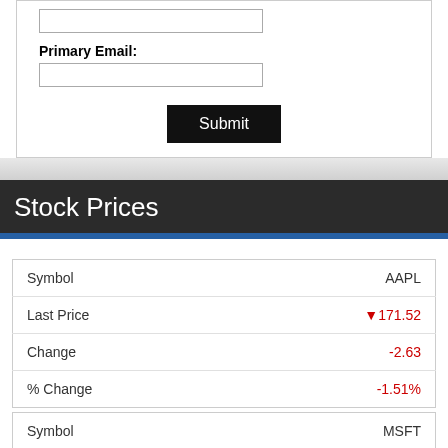Primary Email:
| Symbol | AAPL |
| --- | --- |
| Last Price | ↓171.52 |
| Change | -2.63 |
| % Change | -1.51% |
| Symbol | MSFT |
| --- | --- |
| Last Price | ↓286.15 |